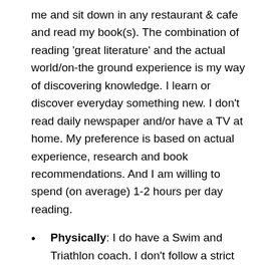me and sit down in any restaurant & cafe and read my book(s). The combination of reading 'great literature' and the actual world/on-the ground experience is my way of discovering knowledge. I learn or discover everyday something new. I don't read daily newspaper and/or have a TV at home. My preference is based on actual experience, research and book recommendations. And I am willing to spend (on average) 1-2 hours per day reading.
Physically: I do have a Swim and Triathlon coach. I don't follow a strict training plan but focus on setting breakthrough goals (such as Ironman) and then discover what works/doesn't work for me. Both in terms of training, sleep,